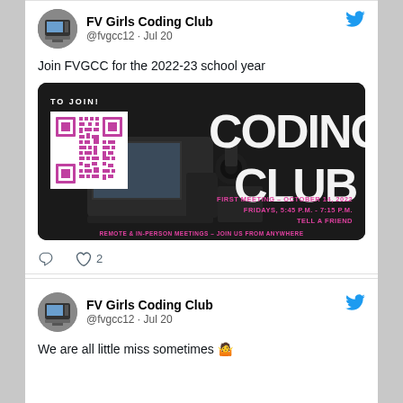FV Girls Coding Club @fvgcc12 · Jul 20
Join FVGCC for the 2022-23 school year
[Figure (photo): Coding Club promotional image with dark background, laptop, QR code, large text reading CODING CLUB, event info: First Meeting - October 14, 2022, Fridays 5:45 P.M.-7:15 P.M., Tell a Friend, Remote & In-Person Meetings - Join Us From Anywhere]
♡ 2
FV Girls Coding Club @fvgcc12 · Jul 20
We are all little miss sometimes 🤷